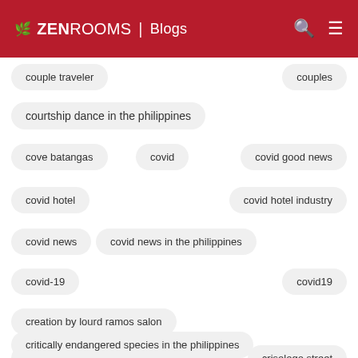ZEN ROOMS | Blogs
couple traveler
couples
courtship dance in the philippines
cove batangas
covid
covid good news
covid hotel
covid hotel industry
covid news
covid news in the philippines
covid-19
covid19
creation by lourd ramos salon
credit card payments
crisologo street
critically endangered species in the philippines